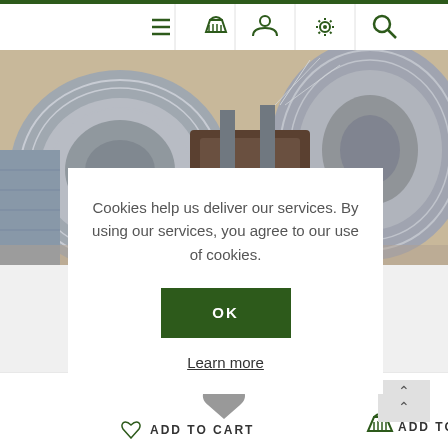[Figure (screenshot): Top navigation bar with hamburger menu, basket, user, settings, and search icons in green on white background with dark green top border]
[Figure (photo): Industrial wire coils/spools of galvanized steel wire in a warehouse setting]
Cookies help us deliver our services. By using our services, you agree to our use of cookies.
OK
Learn more
[Figure (infographic): Heart icon (favorite/wishlist) and Add to Cart button with basket icon]
[Figure (infographic): Scroll-to-top button with double chevron up arrow]